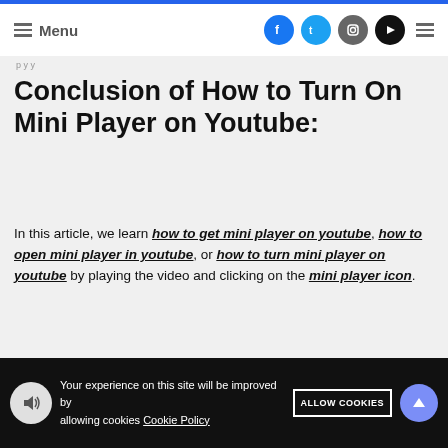Menu
p y y
Conclusion of How to Turn On Mini Player on Youtube:
In this article, we learn how to get mini player on youtube, how to open mini player in youtube, or how to turn mini player on youtube by playing the video and clicking on the mini player icon.
Your experience on this site will be improved by allowing cookies Cookie Policy ALLOW COOKIES